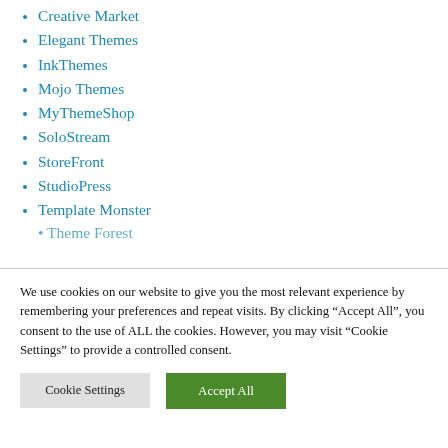Creative Market
Elegant Themes
InkThemes
Mojo Themes
MyThemeShop
SoloStream
StoreFront
StudioPress
Template Monster
Theme Forest (partial, clipped)
We use cookies on our website to give you the most relevant experience by remembering your preferences and repeat visits. By clicking “Accept All”, you consent to the use of ALL the cookies. However, you may visit "Cookie Settings" to provide a controlled consent.
Cookie Settings | Accept All